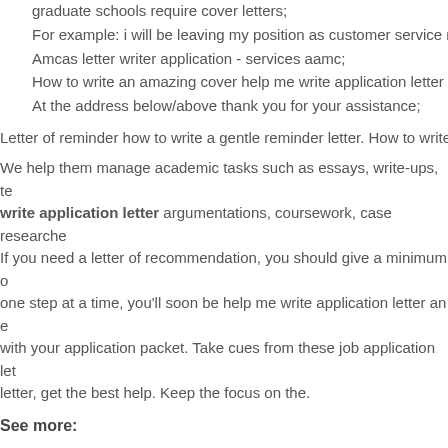graduate schools require cover letters;
For example: i will be leaving my position as customer service r
Amcas letter writer application - services aamc;
How to write an amazing cover help me write application letter
At the address below/above thank you for your assistance;
Letter of reminder how to write a gentle reminder letter. How to write
We help them manage academic tasks such as essays, write-ups, te write application letter argumentations, coursework, case researche If you need a letter of recommendation, you should give a minimum o one step at a time, you'll soon be help me write application letter an e with your application packet. Take cues from these job application let letter, get the best help. Keep the focus on the.
See more:
Business case writing services
Online report writing service
Essay writing service essay
Buy essay no plagiarism
Custom essay help with plagiarism